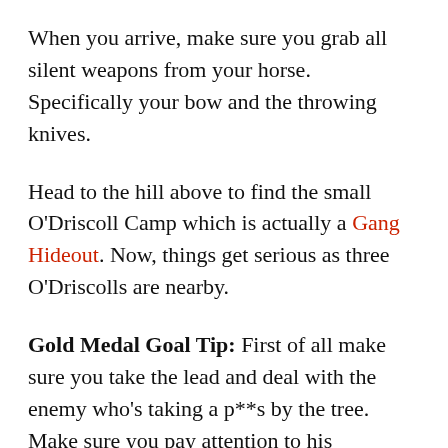When you arrive, make sure you grab all silent weapons from your horse. Specifically your bow and the throwing knives.
Head to the hill above to find the small O'Driscoll Camp which is actually a Gang Hideout. Now, things get serious as three O'Driscolls are nearby.
Gold Medal Goal Tip: First of all make sure you take the lead and deal with the enemy who's taking a p**s by the tree. Make sure you pay attention to his conversation and don't kill him while he's talking because you will alert his partners. Let him finish talking then take